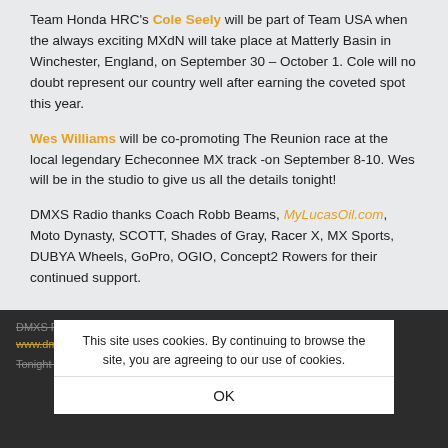Team Honda HRC's Cole Seely will be part of Team USA when the always exciting MXdN will take place at Matterly Basin in Winchester, England, on September 30 – October 1. Cole will no doubt represent our country well after earning the coveted spot this year.
Wes Williams will be co-promoting The Reunion race at the local legendary Echeconnee MX track -on September 8-10. Wes will be in the studio to give us all the details tonight!
DMXS Radio thanks Coach Robb Beams, MyLucasOil.com, Moto Dynasty, SCOTT, Shades of Gray, Racer X, MX Sports, DUBYA Wheels, GoPro, OGIO, Concept2 Rowers for their continued support.
DMXS Radio has been making Bad Billy proud since 2001!
This site uses cookies. By continuing to browse the site, you are agreeing to our use of cookies.
OK